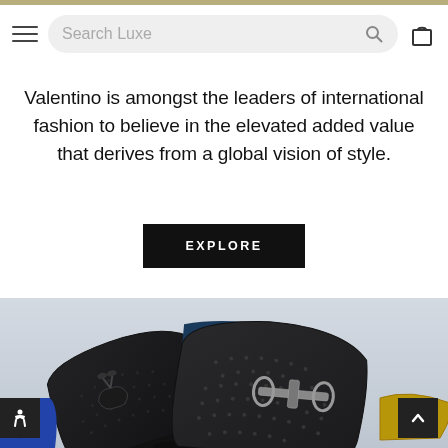Search Luxe — navigation bar with hamburger menu, search field, and bag icon
Valentino is amongst the leaders of international fashion to believe in the elevated added value that derives from a global vision of style.
EXPLORE
[Figure (photo): Close-up photograph of dark textured leather Ferragamo loafers with silver bit hardware on a light grey background]